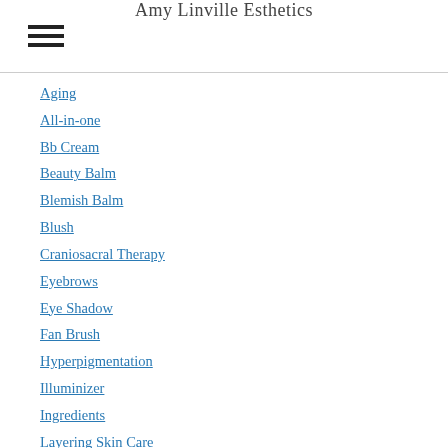Amy Linville Esthetics
Aging
All-in-one
Bb Cream
Beauty Balm
Blemish Balm
Blush
Craniosacral Therapy
Eyebrows
Eye Shadow
Fan Brush
Hyperpigmentation
Illuminizer
Ingredients
Layering Skin Care
Make Up
Mature Skin
Product Absorption
Selling Through Fear
Sunscreen